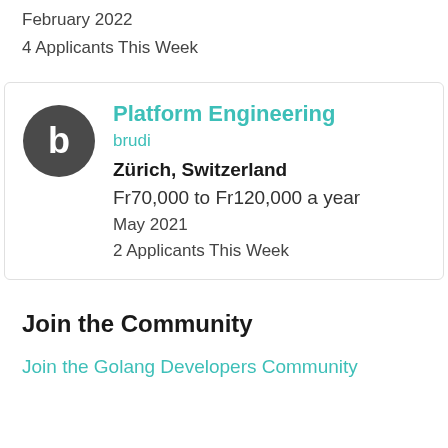February 2022
4 Applicants This Week
Platform Engineering
brudi
Zürich, Switzerland
Fr70,000 to Fr120,000 a year
May 2021
2 Applicants This Week
Join the Community
Join the Golang Developers Community